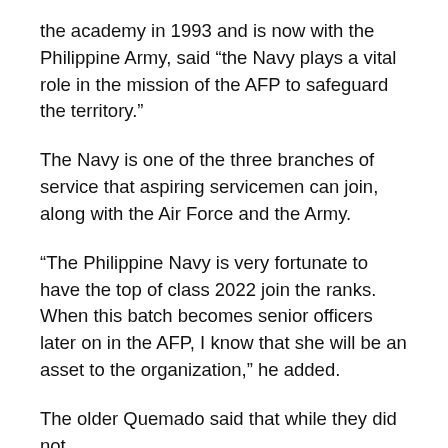the academy in 1993 and is now with the Philippine Army, said “the Navy plays a vital role in the mission of the AFP to safeguard the territory.”
The Navy is one of the three branches of service that aspiring servicemen can join, along with the Air Force and the Army.
“The Philippine Navy is very fortunate to have the top of class 2022 join the ranks. When this batch becomes senior officers later on in the AFP, I know that she will be an asset to the organization,” he added.
The older Quemado said that while they did not